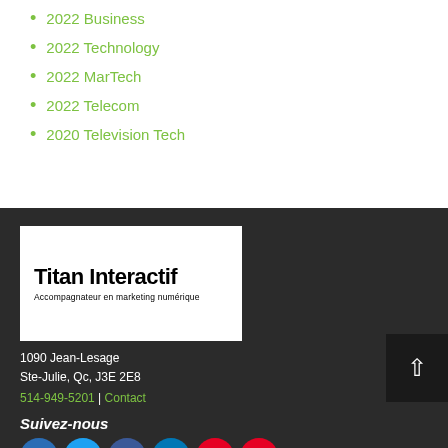2022 Business
2022 Technology
2022 MarTech
2022 Telecom
2020 Television Tech
[Figure (logo): Titan Interactif logo — white box with bold black text reading 'Titan Interactif' and subtitle 'Accompagnateur en marketing numérique']
1090 Jean-Lesage
Ste-Julie, Qc, J3E 2E8
514-949-5201 | Contact
Suivez-nous
[Figure (infographic): Row of social media icons: digg, Twitter, Facebook, LinkedIn, Pinterest, YouTube]